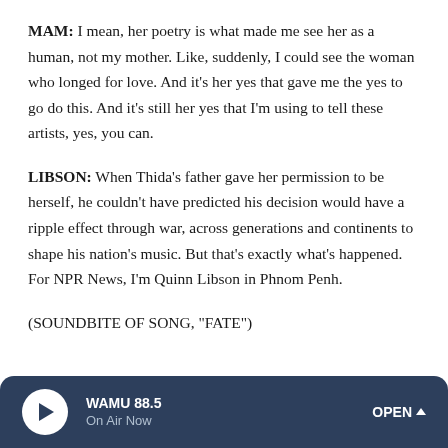MAM: I mean, her poetry is what made me see her as a human, not my mother. Like, suddenly, I could see the woman who longed for love. And it's her yes that gave me the yes to go do this. And it's still her yes that I'm using to tell these artists, yes, you can.
LIBSON: When Thida's father gave her permission to be herself, he couldn't have predicted his decision would have a ripple effect through war, across generations and continents to shape his nation's music. But that's exactly what's happened. For NPR News, I'm Quinn Libson in Phnom Penh.
(SOUNDBITE OF SONG, "FATE")
[Figure (other): WAMU 88.5 radio player bar with play button, station name 'WAMU 88.5', 'On Air Now' subtitle, and 'OPEN ^' button on a dark navy background]